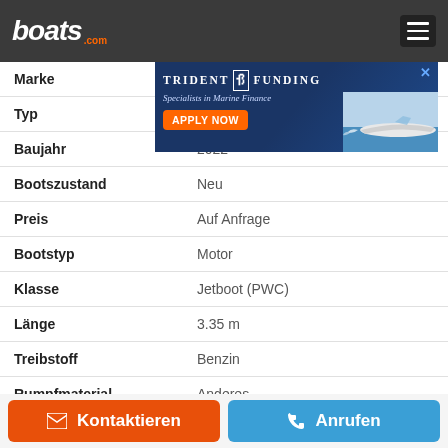boats.com
[Figure (screenshot): Trident Funding advertisement banner — Specialists in Marine Finance, APPLY NOW button with boat image in background]
| Eigenschaft | Wert |
| --- | --- |
| Marke |  |
| Typ | EX® Deluxe |
| Baujahr | 2022 |
| Bootszustand | Neu |
| Preis | Auf Anfrage |
| Bootstyp | Motor |
| Klasse | Jetboot (PWC) |
| Länge | 3.35 m |
| Treibstoff | Benzin |
| Rumpfmaterial | Anderes |
Kontaktieren
Anrufen